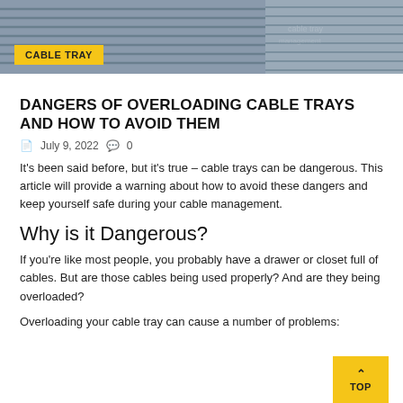[Figure (photo): Hero image of cable trays, grey metallic surfaces shown from above/side angle]
CABLE TRAY
DANGERS OF OVERLOADING CABLE TRAYS AND HOW TO AVOID THEM
July 9, 2022  0
It’s been said before, but it’s true – cable trays can be dangerous. This article will provide a warning about how to avoid these dangers and keep yourself safe during your cable management.
Why is it Dangerous?
If you’re like most people, you probably have a drawer or closet full of cables. But are those cables being used properly? And are they being overloaded?
Overloading your cable tray can cause a number of problems: